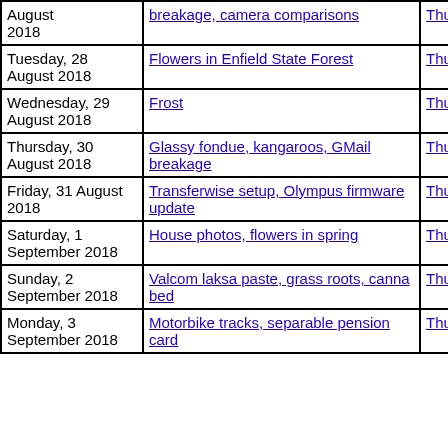| Date | Title | Thumbnails | Small photos | dia |
| --- | --- | --- | --- | --- |
| August 2018 | breakage, camera comparisons | Thumbnails | Small photos | dia |
| Tuesday, 28 August 2018 | Flowers in Enfield State Forest | Thumbnails | Small photos | dia |
| Wednesday, 29 August 2018 | Frost | Thumbnails | Small photos | dia |
| Thursday, 30 August 2018 | Glassy fondue, kangaroos, GMail breakage | Thumbnails | Small photos | dia |
| Friday, 31 August 2018 | Transferwise setup, Olympus firmware update | Thumbnails | Small photos | dia |
| Saturday, 1 September 2018 | House photos, flowers in spring | Thumbnails | Small photos | dia |
| Sunday, 2 September 2018 | Valcom laksa paste, grass roots, canna bed | Thumbnails | Small photos | dia |
| Monday, 3 September 2018 | Motorbike tracks, separable pension card | Thumbnails | Small photos | dia |